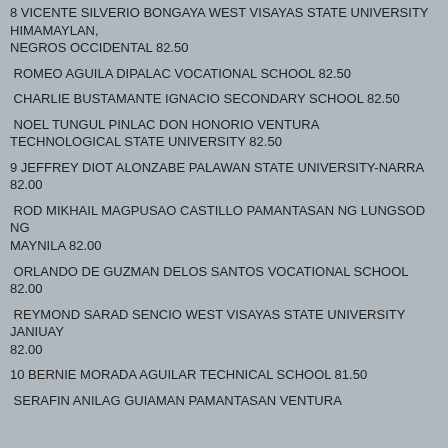8 VICENTE SILVERIO BONGAYA WEST VISAYAS STATE UNIVERSITY HIMAMAYLAN, NEGROS OCCIDENTAL 82.50
ROMEO AGUILA DIPALAC VOCATIONAL SCHOOL 82.50
CHARLIE BUSTAMANTE IGNACIO SECONDARY SCHOOL 82.50
NOEL TUNGUL PINLAC DON HONORIO VENTURA TECHNOLOGICAL STATE UNIVERSITY 82.50
9 JEFFREY DIOT ALONZABE PALAWAN STATE UNIVERSITY-NARRA 82.00
ROD MIKHAIL MAGPUSAO CASTILLO PAMANTASAN NG LUNGSOD NG MAYNILA 82.00
ORLANDO DE GUZMAN DELOS SANTOS VOCATIONAL SCHOOL 82.00
REYMOND SARAD SENCIO WEST VISAYAS STATE UNIVERSITY JANIUAY 82.00
10 BERNIE MORADA AGUILAR TECHNICAL SCHOOL 81.50
SERAFIN ANILAG GUIAMAN PAMANTASAN VENTURA